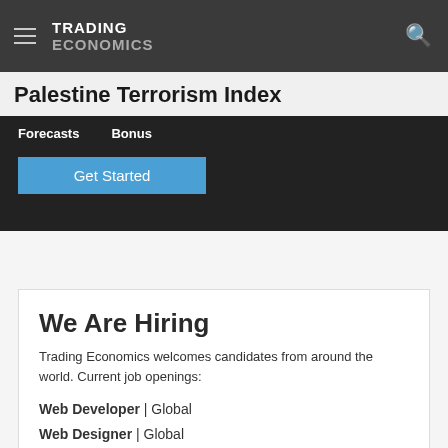TRADING ECONOMICS
Palestine Terrorism Index
Forecasts   Bonus
Get Started
We Are Hiring
Trading Economics welcomes candidates from around the world. Current job openings:
Web Developer | Global
Web Designer | Global
Data Analyst | America
Apply Now